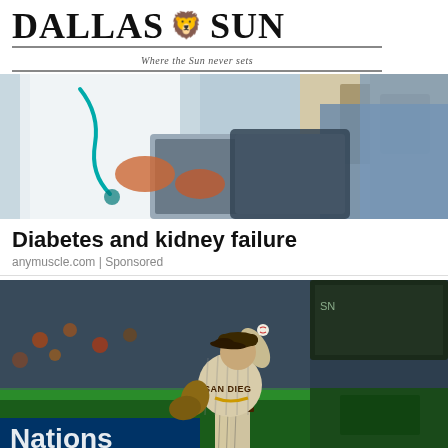DALLAS SUN — Where the Sun never sets
[Figure (photo): Medical professional in white coat with stethoscope writing on clipboard, patient or medical equipment visible in background]
Diabetes and kidney failure
anymuscle.com | Sponsored
[Figure (photo): San Diego Padres baseball pitcher in pinstripe uniform mid-throw on baseball field, stadium crowd visible in background, Nations signage visible]